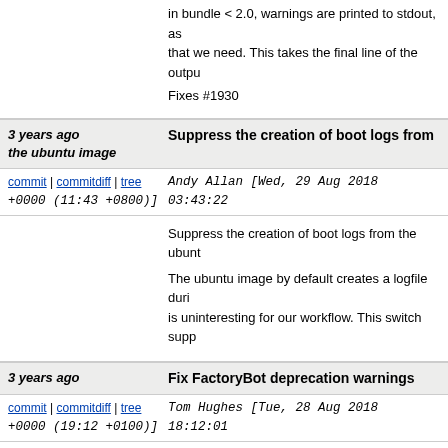in bundle < 2.0, warnings are printed to stdout, as that we need. This takes the final line of the output

Fixes #1930
3 years ago   Suppress the creation of boot logs from the ubuntu image
commit | commitdiff | tree   Andy Allan [Wed, 29 Aug 2018 03:43:22 +0000 (11:43 +0800)]
Suppress the creation of boot logs from the ubuntu

The ubuntu image by default creates a logfile durig is uninteresting for our workflow. This switch supp
3 years ago   Fix FactoryBot deprecation warnings
commit | commitdiff | tree   Tom Hughes [Tue, 28 Aug 2018 18:12:01 +0000 (19:12 +0100)]
Fix FactoryBot deprecation warnings
3 years ago   Update bundle
commit | commitdiff | tree   Tom Hughes [Tue, 28 Aug 2018 17:57:32 +0000 (18:57 +0100)]
Update bundle